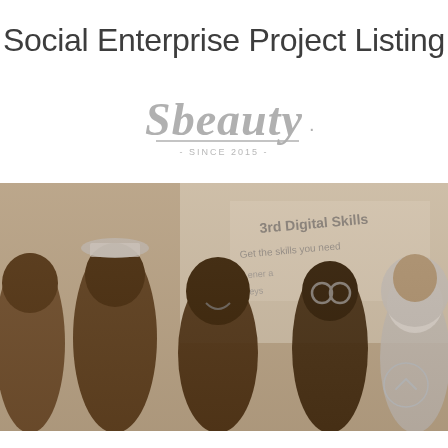Social Enterprise Project Listing
[Figure (logo): Sbeauty logo in gray script font with '- SINCE 2015 -' tagline below]
[Figure (photo): Group photo of young people smiling in front of a banner that reads 'Digital Skills'. Photo is in sepia/grayscale tones.]